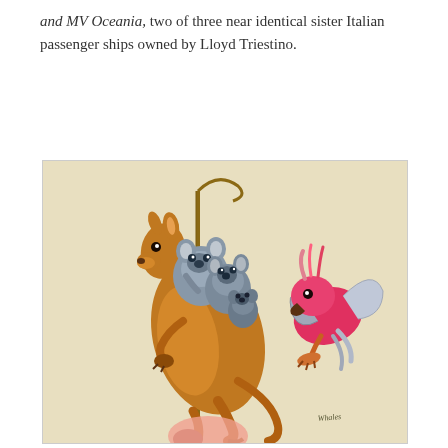and MV Oceania, two of three near identical sister Italian passenger ships owned by Lloyd Triestino.
[Figure (illustration): A whimsical illustration showing a kangaroo carrying koalas on its back while holding a rope/pole, with a pink galah cockatoo flying nearby. The style is a vintage watercolor cartoon. Artist signature visible in lower right.]